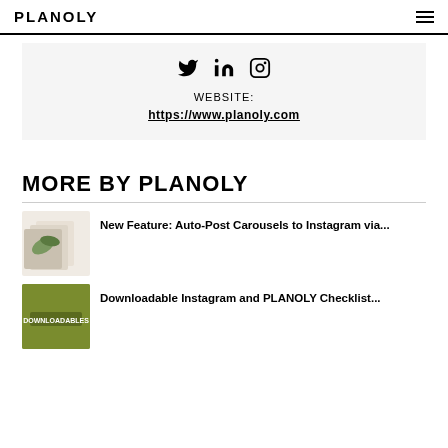PLANOLY
[Figure (infographic): Social media icons for Twitter, LinkedIn, and Instagram, followed by WEBSITE: https://www.planoly.com]
MORE BY PLANOLY
[Figure (photo): Thumbnail image for article about Auto-Post Carousels, showing stacked photo cards with a palm leaf]
New Feature: Auto-Post Carousels to Instagram via...
[Figure (photo): Thumbnail image for downloadable Instagram and PLANOLY checklist, olive/green colored with text DOWNLOADABLES]
Downloadable Instagram and PLANOLY Checklist...